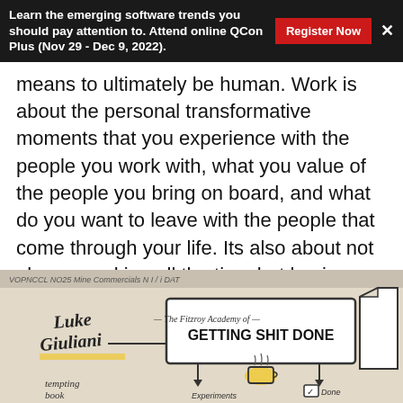Learn the emerging software trends you should pay attention to. Attend online QCon Plus (Nov 29 - Dec 9, 2022).
means to ultimately be human. Work is about the personal transformative moments that you experience with the people you work with, what you value of the people you bring on board, and what do you want to leave with the people that come through your life. Its also about not always working all the time but having journeys. Take three months off and be yourself outside of work too. Take a motorcycle trip through Japan and explore a different side of happiness. The future of happy work is not only about work.
[Figure (illustration): A hand-drawn sketchnote whiteboard illustration showing 'The Fitzroy Academy of GETTING SHIT DONE' with names Luke Giuliani written in cursive, arrows pointing to sections labeled 'Experiments', a coffee cup drawing, and 'Done' with a checkmark. The background is light with black and yellow/orange colored elements.]